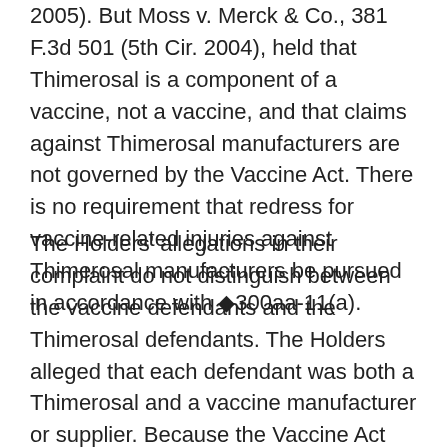2005). But Moss v. Merck & Co., 381 F.3d 501 (5th Cir. 2004), held that Thimerosal is a component of a vaccine, not a vaccine, and that claims against Thimerosal manufacturers are not governed by the Vaccine Act. There is no requirement that redress for vaccine-related injuries against Thimerosal manufacturers be pursued in accordance with §300aa-11(a).
The Holders' allegations in their complaint do not distinguish between the vaccine defendants and the Thimerosal defendants. The Holders alleged that each defendant was both a Thimerosal and a vaccine manufacturer or supplier. Because the Vaccine Act bars all claims against the non-diverse defendants but not claims against the diverse defendants regarding the manufacture, marketing and distribution of Thimerosal, the district court did not err in denying the Holders' motion to remand.